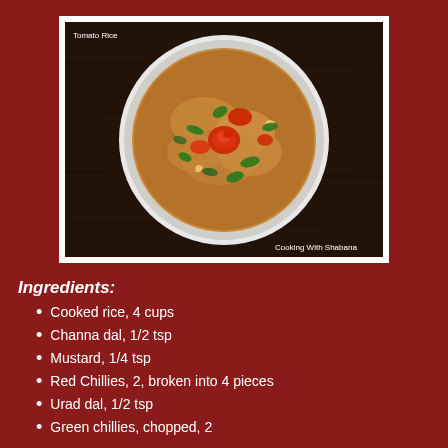[Figure (photo): A white bowl filled with tomato rice garnished with cilantro leaves and a tomato rose. Dark wooden background. Text 'Tomato Rice' in top left and 'Cooking With Shabana' in bottom right.]
Ingredients:
Cooked rice, 4 cups
Channa dal, 1/2 tsp
Mustard, 1/4 tsp
Red Chillies, 2, broken into 4 pieces
Urad dal, 1/2 tsp
Green chillies, chopped, 2